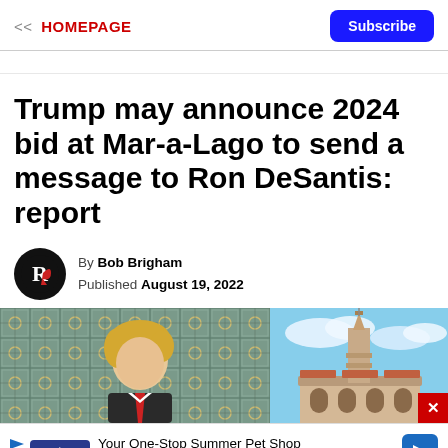<< HOMEPAGE | Subscribe
Trump may announce 2024 bid at Mar-a-Lago to send a message to Ron DeSantis: report
By Bob Brigham
Published August 19, 2022
[Figure (photo): Split photo: left side shows a person (Trump) in front of decorative tiled wall background; right side shows a tower/minaret of Mar-a-Lago estate against blue sky with clouds. Red X close button in bottom-right corner.]
Your One-Stop Summer Pet Shop
Petco